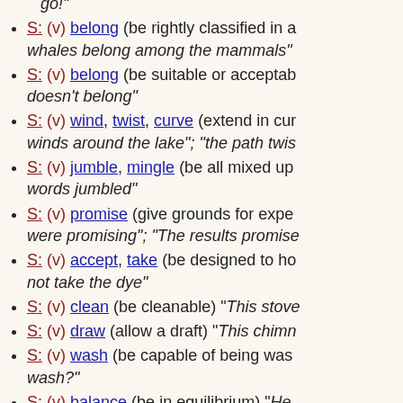go!"
S: (v) belong (be rightly classified in a... "whales belong among the mammals"
S: (v) belong (be suitable or acceptable... doesn't belong"
S: (v) wind, twist, curve (extend in cur... "winds around the lake"; "the path twis...
S: (v) jumble, mingle (be all mixed up... words jumbled"
S: (v) promise (give grounds for expe... were promising"; "The results promise...
S: (v) accept, take (be designed to ho... not take the dye"
S: (v) clean (be cleanable) "This stove...
S: (v) draw (allow a draft) "This chimn...
S: (v) wash (be capable of being was... wash?"
S: (v) balance (be in equilibrium) "He...
S: (v) hail, come (be a native of) "She...
S: (v) act (be suitable for theatrical pe... well"
S: (v) test (show a certain characteris... positive for HIV"
S: (v) seem (appear to exist) "There s... with the project now"